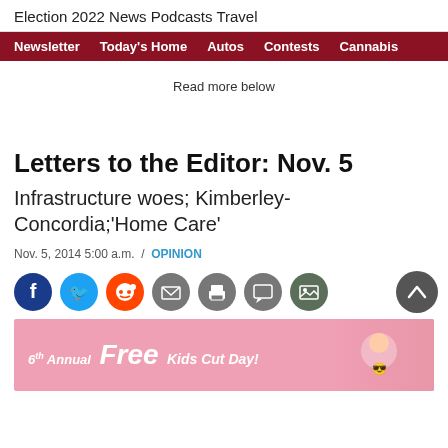Election 2022  News  Podcasts  Travel
Newsletter  Today's Home  Autos  Contests  Cannabis
Read more below
Letters to the Editor: Nov. 5
Infrastructure woes; Kimberley-Concordia;'Home Care'
Nov. 5, 2014 5:00 a.m.  /  OPINION
[Figure (other): Social sharing buttons: Facebook, Twitter, Reddit, Email, Print, Comment, Gallery, and scroll-up button]
[Figure (other): Advertisement banner: 6th Annual Free Kids Cut Day! with child wearing sunglasses on pink background]